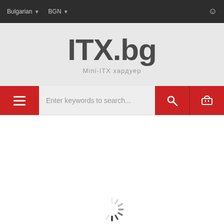Bulgarian ▾  BGN ▾
[Figure (logo): ITX.bg logo with subtitle 'Mini-ITX хардуер']
Enter keywords to search...
[Figure (infographic): Loading spinner at bottom of white content area]